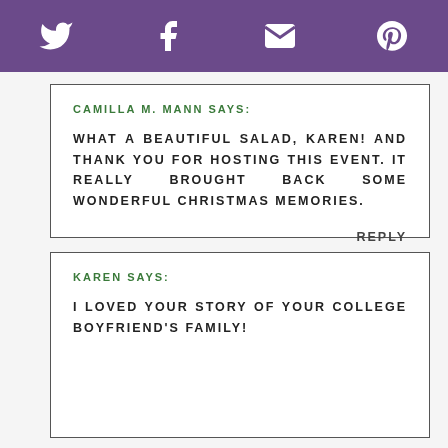Twitter Facebook Email Pinterest (social share icons)
CAMILLA M. MANN SAYS:
WHAT A BEAUTIFUL SALAD, KAREN! AND THANK YOU FOR HOSTING THIS EVENT. IT REALLY BROUGHT BACK SOME WONDERFUL CHRISTMAS MEMORIES.
REPLY
KAREN SAYS:
I LOVED YOUR STORY OF YOUR COLLEGE BOYFRIEND'S FAMILY!